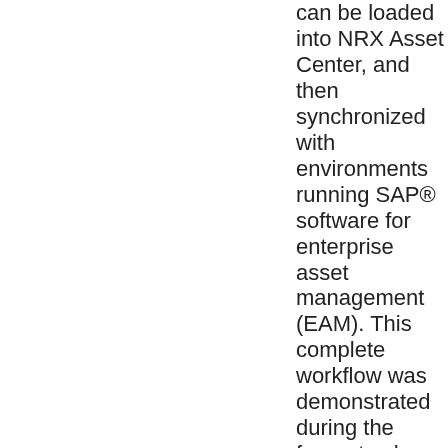can be loaded into NRX Asset Center, and then synchronized with environments running SAP® software for enterprise asset management (EAM). This complete workflow was demonstrated during the forum to show a practical way to leverage ISO15926 to handle asset master data integration